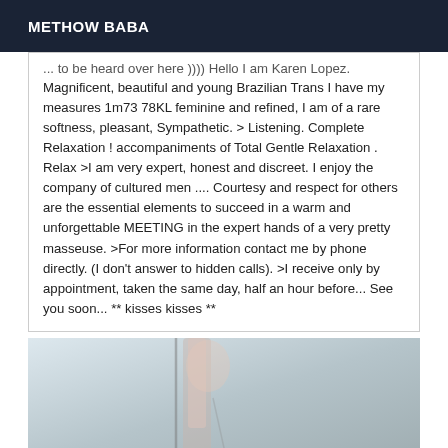METHOW BABA
... to be heard over here ))))  Hello I am Karen Lopez. Magnificent, beautiful and young Brazilian Trans I have my measures 1m73 78KL feminine and refined, I am of a rare softness, pleasant, Sympathetic. > Listening. Complete Relaxation ! accompaniments of Total Gentle Relaxation . Relax >I am very expert, honest and discreet. I enjoy the company of cultured men .... Courtesy and respect for others are the essential elements to succeed in a warm and unforgettable MEETING in the expert hands of a very pretty masseuse. >For more information contact me by phone directly. (I don't answer to hidden calls). >I receive only by appointment, taken the same day, half an hour before... See you soon... ** kisses kisses **
[Figure (photo): Partial view of a person, blurred/cropped photo with light background]